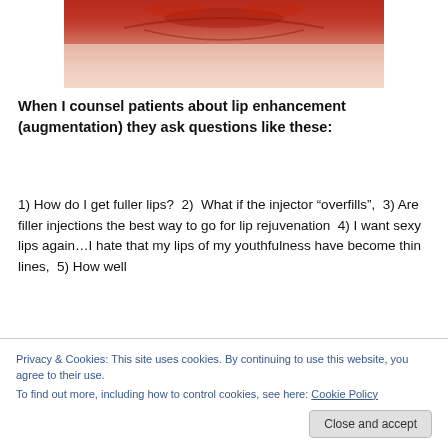[Figure (photo): Close-up photo of a person's lips with red lipstick, lower portion of the face visible showing lip area and chin.]
When I counsel patients about lip enhancement (augmentation) they ask questions like these:
1) How do I get fuller lips?  2)  What if the injector “overfills”,  3) Are filler injections the best way to go for lip rejuvenation  4) I want sexy lips again…I hate that my lips of my youthfulness have become thin lines,  5) How well
Privacy & Cookies: This site uses cookies. By continuing to use this website, you agree to their use.
To find out more, including how to control cookies, see here: Cookie Policy
Close and accept